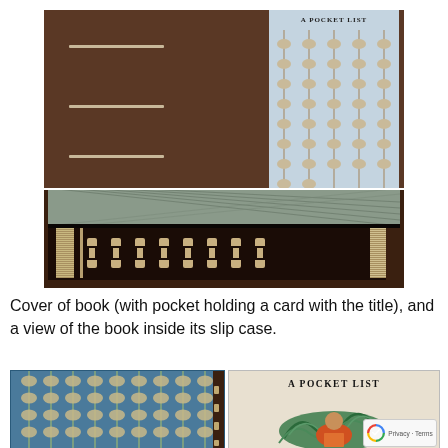[Figure (photo): Top photo showing the cover of a handmade book with a brown cover, horizontal decorative lines, and a pocket holding a small card labeled 'A Pocket List' in a blue leaf-patterned design]
[Figure (photo): Middle photo showing the spine and top edge of the book inside its slip case, with exposed Coptic binding knots along the spine]
Cover of book (with pocket holding a card with the title), and a view of the book inside its slip case.
[Figure (photo): Bottom-left photo showing the blue and tan leaf-patterned decorative paper cover of the book open, with Coptic binding visible on the right edge]
[Figure (photo): Bottom-right photo showing the title page or card reading 'A Pocket List' with an illustrated figure surrounded by decorative swirling greenery]